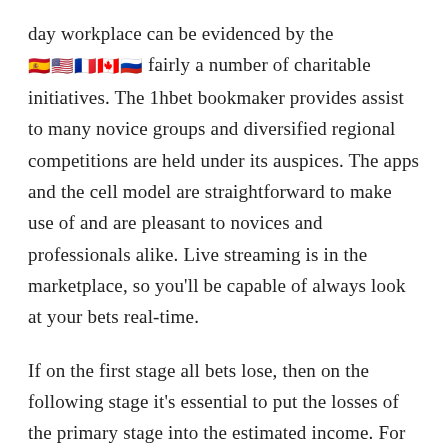day workplace can be evidenced by the 🇪🇸🇺🇸🇫🇷🇨🇦🇷🇺 fairly a number of charitable initiatives. The 1hbet bookmaker provides assist to many novice groups and diversified regional competitions are held under its auspices. The apps and the cell model are straightforward to make use of and are pleasant to novices and professionals alike. Live streaming is in the marketplace, so you'll be capable of always look at your bets real-time.
If on the first stage all bets lose, then on the following stage it's essential to put the losses of the primary stage into the estimated income. For unfortunate gamers who on no account win, there may be the particular Lost Bets bonus. Keep in